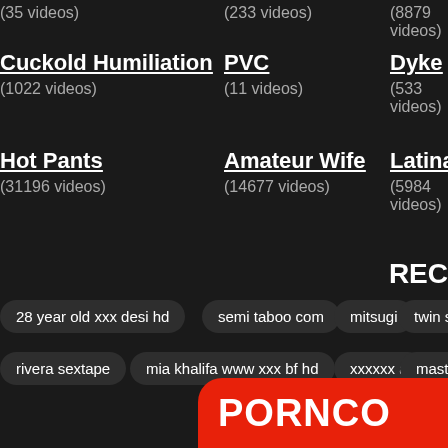(35 videos)
(233 videos)
(8879 videos)
Cuckold Humiliation
(1022 videos)
PVC
(11 videos)
Dyke
(533 videos)
Hot Pants
(31196 videos)
Amateur Wife
(14677 videos)
Latina
(5984 videos)
REC
28 year old xxx desi hd
semi taboo com
mitsugi
twin shopl…
rivera sextape
mia khalifa www xxx bf hd
xxxxxx a
masturba…
PORNCO